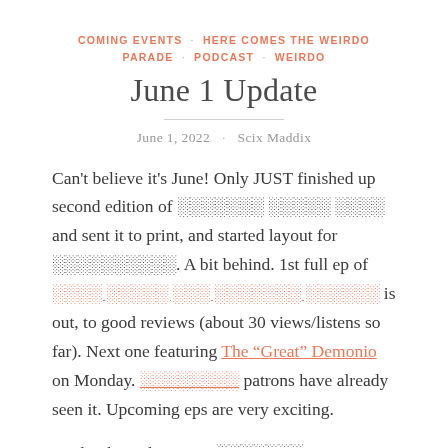COMING EVENTS · HERE COMES THE WEIRDO PARADE · PODCAST · WEIRDO
June 1 Update
June 1, 2022 · Scix Maddix
Can't believe it's June! Only JUST finished up second edition of ░░░░░░░ ░░░░░ ░░░░ and sent it to print, and started layout for ░░░░░░░░░░. A bit behind. 1st full ep of ░░░░ ░░░░░ ░░░ ░░░░░░░ ░░░░░░ is out, to good reviews (about 30 views/listens so far). Next one featuring The "Great" Demonio on Monday. ░░░░░░░░ patrons have already seen it. Upcoming eps are very exciting.
For books and writing, ░░░░░░░ ░░░░░░░░░░░ is